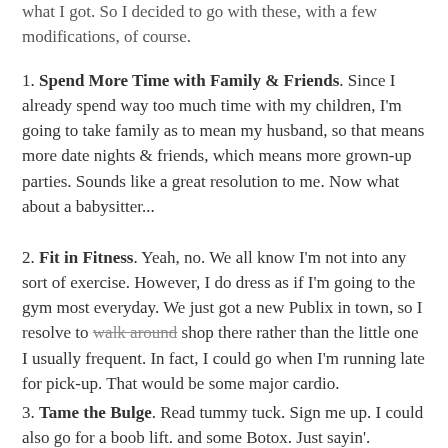what I got.  So I decided to go with these, with a few modifications, of course.
1. Spend More Time with Family & Friends.  Since I already spend way too much time with my children, I'm going to take family as to mean my husband, so that means more date nights & friends, which means more grown-up parties.  Sounds like a great resolution to me.  Now what about a babysitter...
2. Fit in Fitness.  Yeah, no.  We all know I'm not into any sort of exercise.  However, I do dress as if I'm going to the gym most everyday.  We just got a new Publix in town, so I resolve to walk around shop there rather than the little one I usually frequent.  In fact, I could go when I'm running late for pick-up.  That would be some major cardio.
3. Tame the Bulge.  Read tummy tuck.  Sign me up.  I could also go for a boob lift.  and some Botox.  Just sayin'.